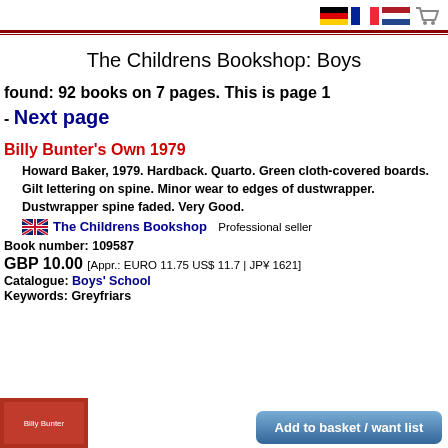[flags: DE, FR, NL] [cart icon]
The Childrens Bookshop: Boys
found: 92 books on 7 pages. This is page 1
- Next page
Billy Bunter's Own 1979
Howard Baker, 1979. Hardback. Quarto. Green cloth-covered boards. Gilt lettering on spine. Minor wear to edges of dustwrapper. Dustwrapper spine faded. Very Good.
The Childrens Bookshop   Professional seller
Book number: 109587
GBP 10.00 [Appr.: EURO 11.75 US$ 11.7 | JP¥ 1621]
Catalogue: Boys' School
Keywords: Greyfriars
[Figure (photo): Book cover thumbnail of Billy Bunter's Own 1979]
Add to basket / want list